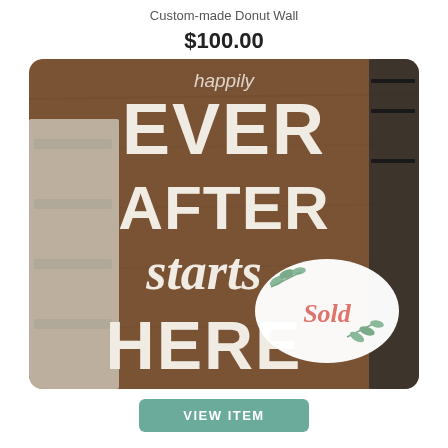Custom-made Donut Wall
$100.00
[Figure (photo): A wooden brown sign with white lettering reading 'Happily EVER AFTER starts HERE', partially obscured at top. A white oval 'Sold' sticker with eucalyptus leaves is visible in the lower right. A white shelving unit and dark ornate frame are visible in the background.]
VIEW ITEM